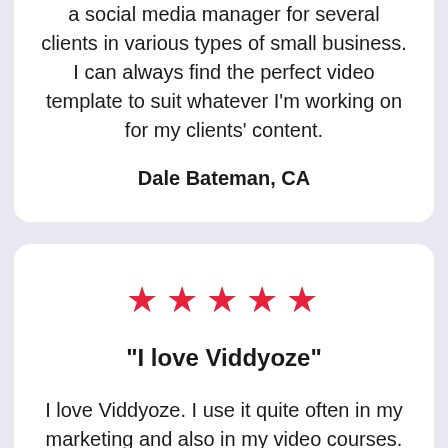a social media manager for several clients in various types of small business. I can always find the perfect video template to suit whatever I'm working on for my clients' content.
Dale Bateman, CA
[Figure (other): Five red star rating icons]
"I love Viddyoze"
I love Viddyoze. I use it quite often in my marketing and also in my video courses. It has